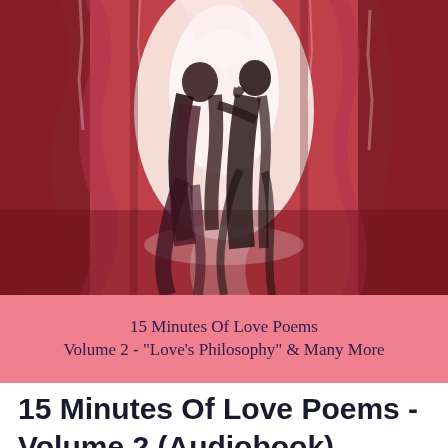[Figure (illustration): A romantic illustration showing two figures (a woman and a man) from behind, standing close together in a painterly, expressionist style hallway with red, crimson, and white brushstroke colors. The woman has long dark hair and wears a dark skirt; the man wears a dark jacket. Bright light emanates from the center. The style is digital painting with loose, gestural strokes.]
15 Minutes Of Love Poems
Volume 2 - "Love's Philosophy" & Many More
15 Minutes Of Love Poems - Volume 2 (Audiobook)